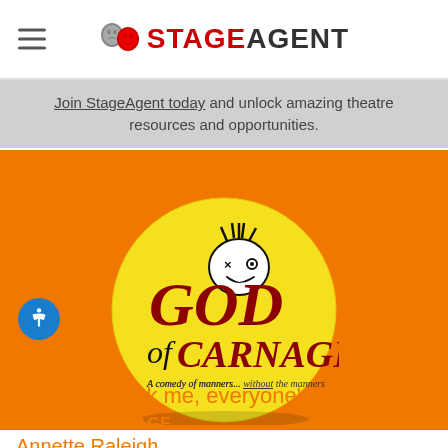StageAgent
Join StageAgent today and unlock amazing theatre resources and opportunities.
[Figure (logo): God of Carnage show logo — yellow circle with illustrated cartoon face and red/black text reading 'GOD of CARNAGE - A comedy of manners... without the manners']
Well if you ask me, everyone's feeling f...
GOD OF CARNAGE
Annette Raleigh